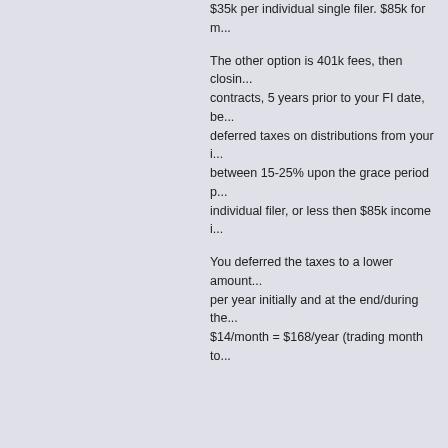$35k per individual single filer. $85k for m...
The other option is 401k fees, then closing contracts, 5 years prior to your FI date, be... deferred taxes on distributions from your i... between 15-25% upon the grace period p... individual filer, or less then $85k income i...
You deferred the taxes to a lower amount... per year initially and at the end/during the... $14/month = $168/year (trading month to...
matchewed
Magnum Stache
Posts: 4422
Location: CT
Re: What about a Successful Business or Long Term Investme... Scenario?
« Reply #9 on: June 25, 2013, 01:22:49 PM »
Instead of screaming FEES at me can yo... manner in which they would be used in th... educate myself on what funds have what... does not have fees, the funds you invest i... the most accurate of this, understand y...